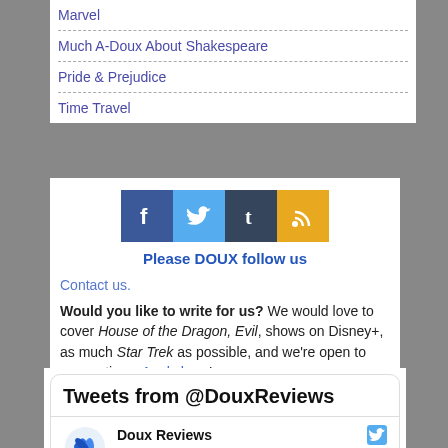Marvel
Much A-Doux About Shakespeare
Pride & Prejudice
Time Travel
[Figure (infographic): Social media icons: Facebook (blue), Twitter (light blue), Tumblr (dark), RSS (gold/yellow)]
Please DOUX follow us
Contact us.
Would you like to write for us? We would love to cover House of the Dragon, Evil, shows on Disney+, as much Star Trek as possible, and we're open to suggestions. Apply here!
[Figure (screenshot): Tweets from @DouxReviews widget showing Doux Reviews @DouxRevie... · Aug 30]